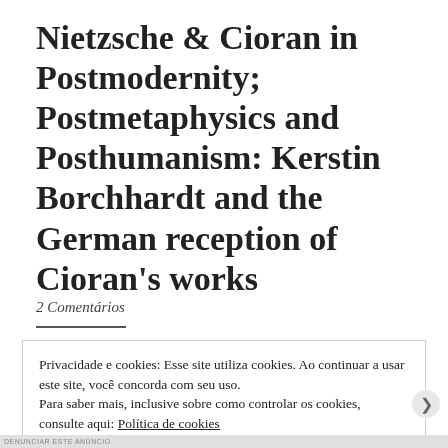Nietzsche & Cioran in Postmodernity; Postmetaphysics and Posthumanism: Kerstin Borchhardt and the German reception of Cioran's works
2 Comentários
Privacidade e cookies: Esse site utiliza cookies. Ao continuar a usar este site, você concorda com seu uso.
Para saber mais, inclusive sobre como controlar os cookies, consulte aqui: Política de cookies
Fechar e aceitar